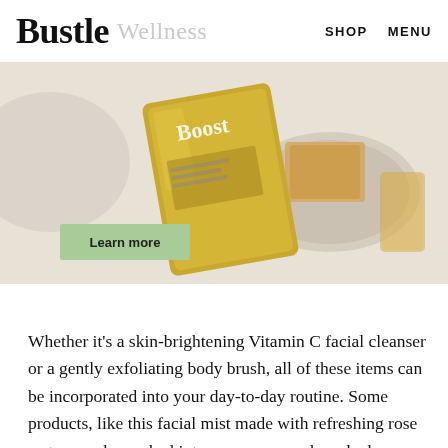Bustle  Wellness  SHOP  MENU
[Figure (photo): Advertisement banner showing a gold foil 'Boost' supplement packet on a beige stone surface with a plate and glass in the background. A green 'Learn more' button is overlaid on the left side.]
Whether it's a skin-brightening Vitamin C facial cleanser or a gently exfoliating body brush, all of these items can be incorporated into your day-to-day routine. Some products, like this facial mist made with refreshing rose water, can be packed into your purse and used whenever you need a little pick-me-up.